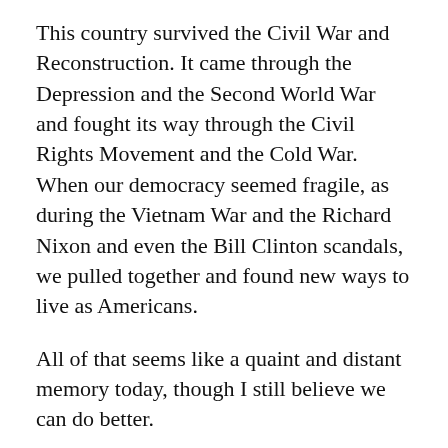This country survived the Civil War and Reconstruction. It came through the Depression and the Second World War and fought its way through the Civil Rights Movement and the Cold War. When our democracy seemed fragile, as during the Vietnam War and the Richard Nixon and even the Bill Clinton scandals, we pulled together and found new ways to live as Americans.
All of that seems like a quaint and distant memory today, though I still believe we can do better.
There's a lot that is broken about our country—racism, sexism, homophobia, and the abandonment of our own working class come to mind. But we've had bigger problems than